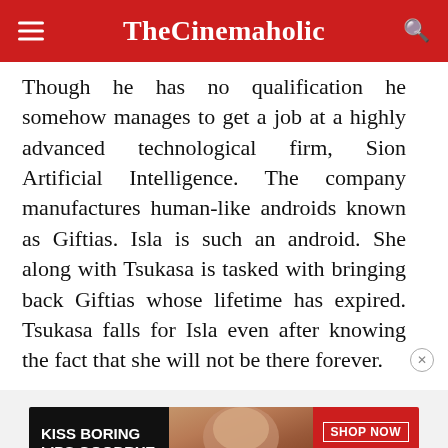TheCinemaholic
Though he has no qualification he somehow manages to get a job at a highly advanced technological firm, Sion Artificial Intelligence. The company manufactures human-like androids known as Giftias. Isla is such an android. She along with Tsukasa is tasked with bringing back Giftias whose lifetime has expired. Tsukasa falls for Isla even after knowing the fact that she will not be there forever.
[Figure (other): Advertisement banner: KISS BORING LIPS GOODBYE | SHOP NOW | macy's, showing a close-up of a woman's face with red lipstick on a dark background]